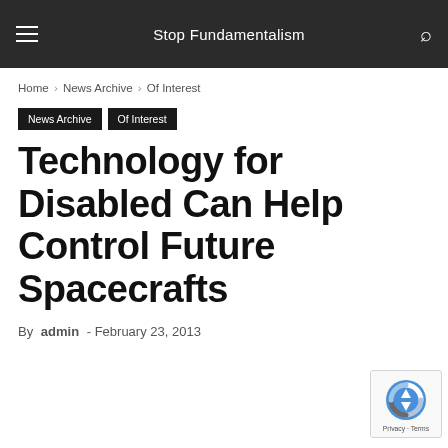Stop Fundamentalism
Home › News Archive › Of Interest
News Archive
Of Interest
Technology for Disabled Can Help Control Future Spacecrafts
By admin - February 23, 2013
[Figure (logo): reCAPTCHA badge with blue/grey logo icon and Privacy · Terms text]